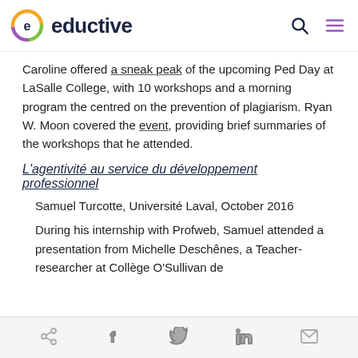eductive
Caroline offered a sneak peak of the upcoming Ped Day at LaSalle College, with 10 workshops and a morning program the centred on the prevention of plagiarism. Ryan W. Moon covered the event, providing brief summaries of the workshops that he attended.
L'agentivité au service du développement professionnel
Samuel Turcotte, Université Laval, October 2016
During his internship with Profweb, Samuel attended a presentation from Michelle Deschênes, a Teacher-researcher at Collège O'Sullivan de
Share social icons